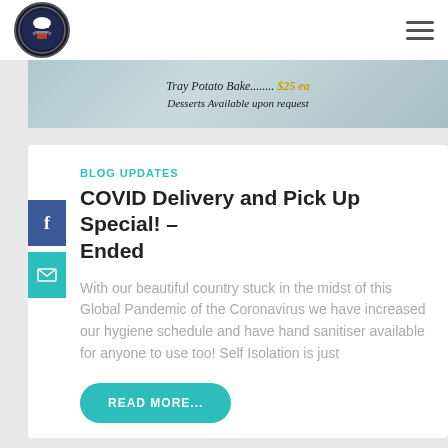[Figure (logo): Circular restaurant logo with chef's hat and cooking theme on dark background]
[Figure (photo): Promotional banner with text: Tray Potato Bake........ $25 ea / Desserts Available upon request on a teal/grey background]
BLOG UPDATES
COVID Delivery and Pick Up Special! – Ended
With our beautiful country stuck in the midst of this Global Pandemic of the Coronavirus we have increased our hygiene schedule and have hand sanitiser available for anyone to use too! Self Isolation is just
READ MORE...